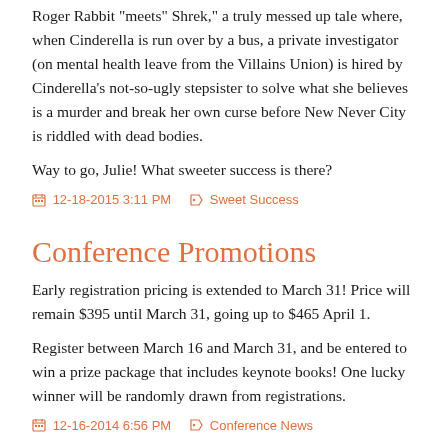Roger Rabbit meets Shrek, a truly messed up tale where, when Cinderella is run over by a bus, a private investigator (on mental health leave from the Villains Union) is hired by Cinderella's not-so-ugly stepsister to solve what she believes is a murder and break her own curse before New Never City is riddled with dead bodies.
Way to go, Julie!  What sweeter success is there?
12-18-2015 3:11 PM   Sweet Success
Conference Promotions
Early registration pricing is extended to March 31! Price will remain $395 until March 31, going up to $465 April 1.
Register between March 16 and March 31, and be entered to win a prize package that includes keynote books! One lucky winner will be randomly drawn from registrations.
12-16-2014 6:56 PM   Conference News